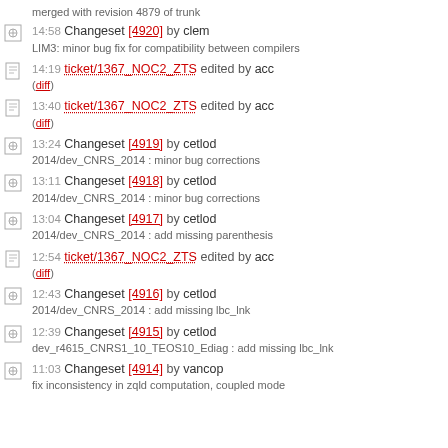merged with revision 4879 of trunk
14:58 Changeset [4920] by clem
LIM3: minor bug fix for compatibility between compilers
14:19 ticket/1367_NOC2_ZTS edited by acc
(diff)
13:40 ticket/1367_NOC2_ZTS edited by acc
(diff)
13:24 Changeset [4919] by cetlod
2014/dev_CNRS_2014 : minor bug corrections
13:11 Changeset [4918] by cetlod
2014/dev_CNRS_2014 : minor bug corrections
13:04 Changeset [4917] by cetlod
2014/dev_CNRS_2014 : add missing parenthesis
12:54 ticket/1367_NOC2_ZTS edited by acc
(diff)
12:43 Changeset [4916] by cetlod
2014/dev_CNRS_2014 : add missing lbc_lnk
12:39 Changeset [4915] by cetlod
dev_r4615_CNRS1_10_TEOS10_Ediag : add missing lbc_lnk
11:03 Changeset [4914] by vancop
fix inconsistency in zqld computation, coupled mode